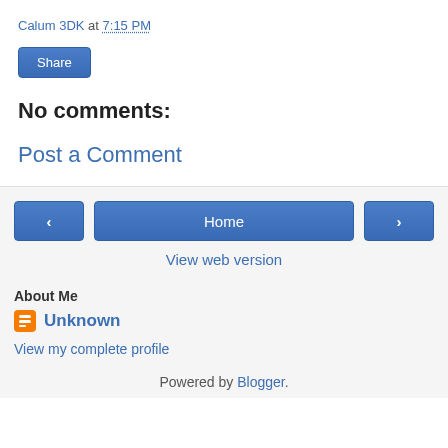Calum 3DK at 7:15 PM
Share
No comments:
Post a Comment
‹ Home ›
View web version
About Me
Unknown
View my complete profile
Powered by Blogger.